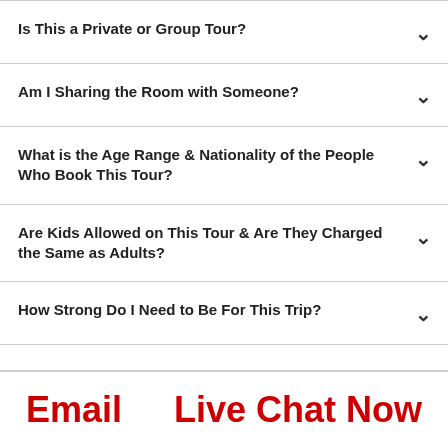Is This a Private or Group Tour?
Am I Sharing the Room with Someone?
What is the Age Range & Nationality of the People Who Book This Tour?
Are Kids Allowed on This Tour & Are They Charged the Same as Adults?
How Strong Do I Need to Be For This Trip?
Email   Live Chat Now